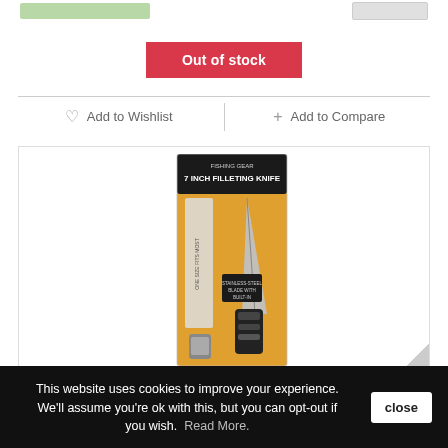[Figure (screenshot): Top partial bar with green rectangle and grey rectangle, product page UI elements]
Out of stock
Add to Wishlist
Add to Compare
[Figure (photo): 7 Inch Filleting Knife product in packaging, showing knife with sheath and handle on orange/gold card backing]
This website uses cookies to improve your experience. We'll assume you're ok with this, but you can opt-out if you wish. Read More.
close